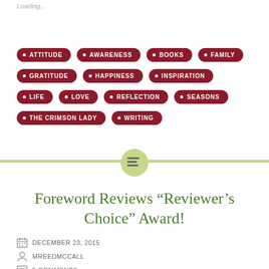Loading...
ATTITUDE
AWARENESS
BOOKS
FAMILY
GRATITUDE
HAPPINESS
INSPIRATION
LIFE
LOVE
REFLECTION
SEASONS
THE CRIMSON LADY
WRITING
Foreword Reviews “Reviewer’s Choice” Award!
DECEMBER 23, 2015
MREEDMCCALL
5 COMMENTS